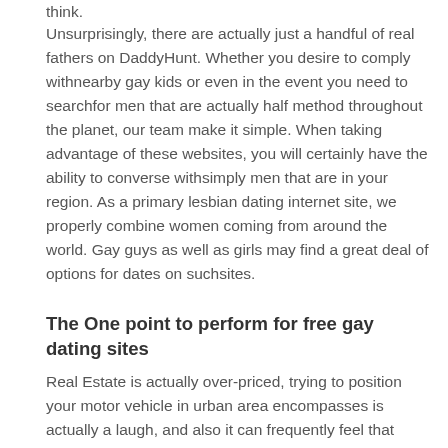think.
Unsurprisingly, there are actually just a handful of real fathers on DaddyHunt. Whether you desire to comply withnearby gay kids or even in the event you need to searchfor men that are actually half method throughout the planet, our team make it simple. When taking advantage of these websites, you will certainly have the ability to converse withsimply men that are in your region. As a primary lesbian dating internet site, we properly combine women coming from around the world. Gay guys as well as girls may find a great deal of options for dates on suchsites.
The One point to perform for free gay dating sites
Real Estate is actually over-priced, trying to position your motor vehicle in urban area encompasses is actually a laugh, and also it can frequently feel that individuals just do not possess adequate time of time